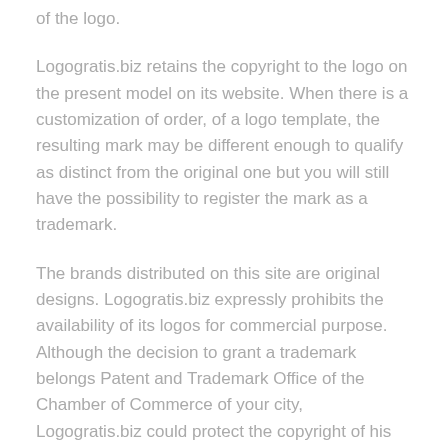of the logo.
Logogratis.biz retains the copyright to the logo on the present model on its website. When there is a customization of order, of a logo template, the resulting mark may be different enough to qualify as distinct from the original one but you will still have the possibility to register the mark as a trademark.
The brands distributed on this site are original designs. Logogratis.biz expressly prohibits the availability of its logos for commercial purpose. Although the decision to grant a trademark belongs Patent and Trademark Office of the Chamber of Commerce of your city, Logogratis.biz could protect the copyright of his work in the relevant context.